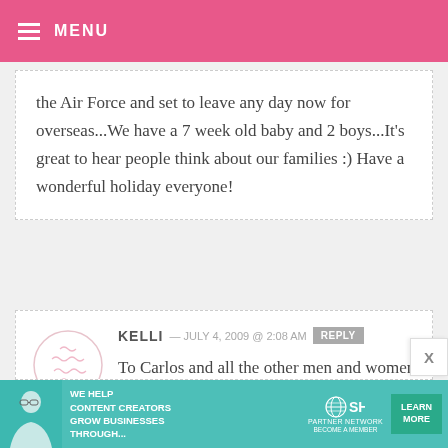MENU
the Air Force and set to leave any day now for overseas...We have a 7 week old baby and 2 boys...It's great to hear people think about our families :) Have a wonderful holiday everyone!
KELLI — JULY 4, 2009 @ 2:08 AM
To Carlos and all the other men and women protecting our country: THANK YOU!!
[Figure (screenshot): Advertisement banner for SHE Media Partner Network with text 'WE HELP CONTENT CREATORS GROW BUSINESSES THROUGH...' and a LEARN MORE button]